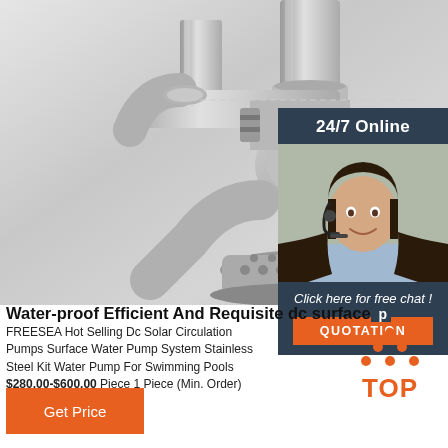[Figure (photo): Stainless steel submersible/surface water pump photographed against light background, showing pipe fittings, flanges, and perforated base cage]
[Figure (photo): 24/7 Online customer service panel showing a smiling woman with headset against dark navy background]
24/7 Online
Click here for free chat !
QUOTATION
Water-proof Efficient And Requisite dc surface p
FREESEA Hot Selling Dc Solar Circulation Pumps Surface Water Pump System Stainless Steel Kit Water Pump For Swimming Pools
$280.00-$600.00 Piece 1 Piece (Min. Order)
[Figure (logo): TOP icon with orange dot pattern above the word TOP in orange]
Get Price